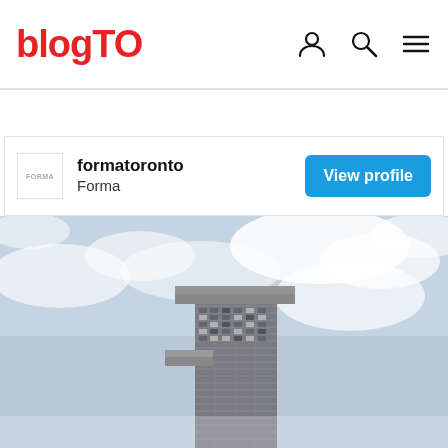blogTO
[Figure (screenshot): Profile card for formatoronto / Forma with View profile button]
[Figure (photo): Upward-looking photograph of a tall modern skyscraper with cantilevered sections against a partly cloudy sky]